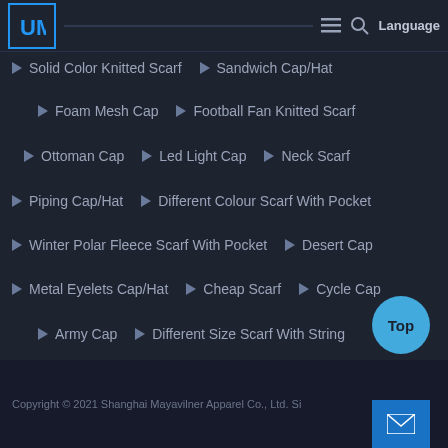UM Logo | Solid Color Knitted Scarf | Sandwich Cap/Hat | Hamburger | Search | Language
▶ Solid Color Knitted Scarf  ▶ Sandwich Cap/Hat
▶ Foam Mesh Cap  ▶ Football Fan Knitted Scarf
▶ Ottoman Cap  ▶ Led Light Cap  ▶ Neck Scarf
▶ Piping Cap/Hat  ▶ Different Colour Scarf With Pocket
▶ Winter Polar Fleece Scarf With Pocket  ▶ Desert Cap
▶ Metal Eyelets Cap/Hat  ▶ Cheap Scarf  ▶ Cycle Cap
▶ Army Cap  ▶ Different Size Scarf With String
Copyright © 2021 Shanghai Mayavilner Apparel Co., Ltd. Si...